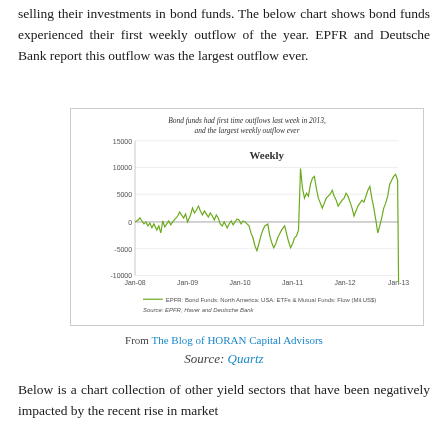selling their investments in bond funds. The below chart shows bond funds experienced their first weekly outflow of the year. EPFR and Deutsche Bank report this outflow was the largest outflow ever.
[Figure (continuous-plot): Weekly line chart showing EPFR Bond Funds North America USA ETFs & Mutual Funds Flow (Mil.US$) from Jan-08 to Jan-13. Values mostly ranged between -5000 and 5000 with a spike to ~12000 around Jan-12, and a large drop to about -9000 at Jan-13.]
From The Blog of HORAN Capital Advisors
Source: Quartz
Below is a chart collection of other yield sectors that have been negatively impacted by the recent rise in market